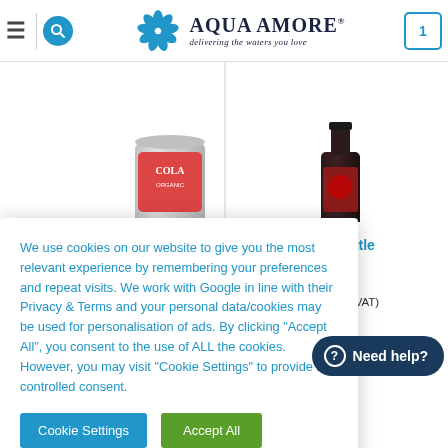AQUA AMORE – delivering the waters you love
[Figure (screenshot): Partial product images: left shows a cola organic can, right shows a dark glass bottle with red label]
ola Glass Bottle 4x300ml
VAT (£34.16 Ex. VAT)
AD MORE
We use cookies on our website to give you the most relevant experience by remembering your preferences and repeat visits. We work with Google in line with their Privacy & Terms and your personal data/cookies may be used for personalisation of ads. By clicking "Accept All", you consent to the use of ALL the cookies. However, you may visit "Cookie Settings" to provide a controlled consent.
Cookie Settings
Accept All
Need help?
[Figure (photo): Partial product image at bottom left, appears to be a yellow/lemon branded drink]